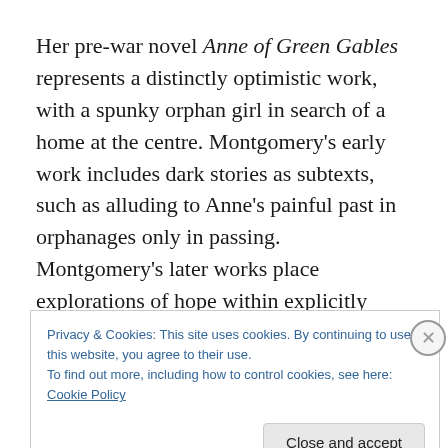Her pre-war novel Anne of Green Gables represents a distinctly optimistic work, with a spunky orphan girl in search of a home at the centre. Montgomery's early work includes dark stories as subtexts, such as alluding to Anne's painful past in orphanages only in passing. Montgomery's later works place explorations of hope within explicitly darker contexts. This shift reflects her
Privacy & Cookies: This site uses cookies. By continuing to use this website, you agree to their use.
To find out more, including how to control cookies, see here: Cookie Policy
Close and accept